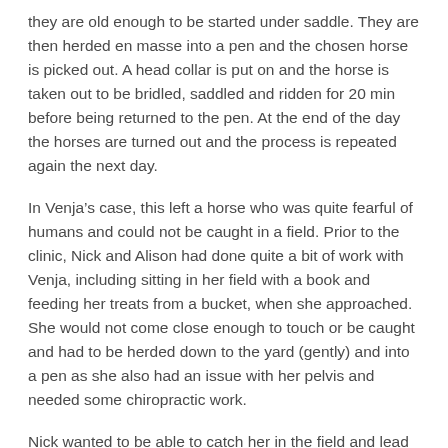they are old enough to be started under saddle.  They are then herded en masse into a pen and the chosen horse is picked out.  A head collar is put on and the horse is taken out to be bridled, saddled and ridden for 20 min before being returned to the pen.  At the end of the day the horses are turned out and the process is repeated again the next day.
In Venja’s case, this left a horse who was quite fearful of humans and could not be caught in a field.  Prior to the clinic, Nick and Alison had done quite a bit of work with Venja, including sitting in her field with a book and feeding her treats from a bucket, when she approached.  She would not come close enough to touch or be caught and had to be herded down to the yard (gently) and into a pen as she also had an issue with her pelvis and needed some chiropractic work.
Nick wanted to be able to catch her in the field and lead her down to the yard, so this was our objective!